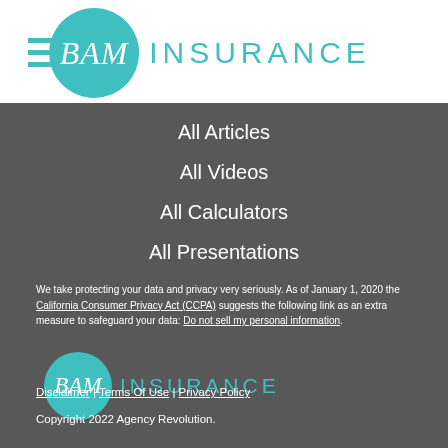[Figure (logo): BAM Insurance logo with teal circle containing script letters and INSURANCE text in teal]
All Articles
All Videos
All Calculators
All Presentations
We take protecting your data and privacy very seriously. As of January 1, 2020 the California Consumer Privacy Act (CCPA) suggests the following link as an extra measure to safeguard your data: Do not sell my personal information.
[Figure (logo): BAM Insurance logo smaller version in footer]
Disclaimer | Terms Of Use | Privacy Policy
Copyright 2022 Agency Revolution.